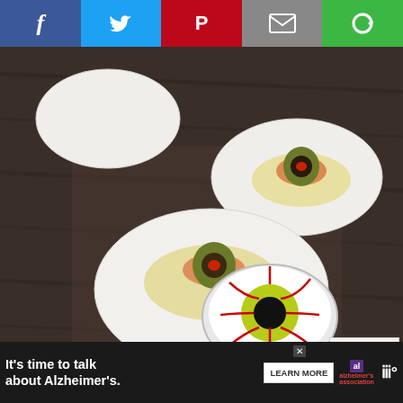[Figure (other): Social share bar with Facebook (blue), Twitter (light blue), Pinterest (red), Email (grey), and a green share button icons]
[Figure (photo): Photo of deviled eggs made to look like bloodshot eyeballs, with green olives as pupils and red paprika spice swirls, on a dark wooden board. A round decorative eyeball token with red veins, green iris, and black pupil is also visible.]
Lindsay from Cotter Crunch made deviled eggs made to look like blood shot eyeballs! All you need are green olives, spices, eggs, and your
[Figure (other): Scroll to top overlay button]
[Figure (other): Advertisement bar: It's time to talk about Alzheimer's. LEARN MORE — Alzheimer's Association logo and another logo]